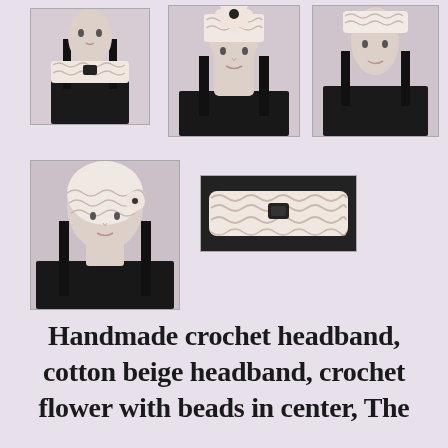[Figure (photo): Top-left photo: mannequin wearing a beige/cream crochet headband with a small black embellishment, shown from front/side angle]
[Figure (photo): Top-center photo: mannequin wearing a beige crochet headband with a large crochet flower and black bead center, shown from front]
[Figure (photo): Top-right photo: mannequin wearing a plain beige crochet headband, shown from side/back angle]
[Figure (photo): Bottom-left photo: mannequin wearing a beige crochet cap/headband style hat with flower detail, shown from front/side]
[Figure (photo): Bottom-center photo: flat lay of the beige crochet headband with small black embellishment in center, shown against dark background]
Handmade crochet headband, cotton beige headband, crochet flower with beads in center, The